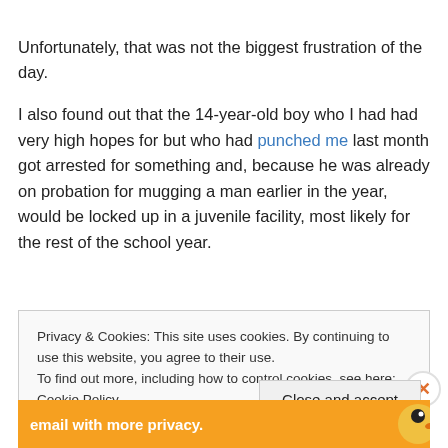Unfortunately, that was not the biggest frustration of the day.
I also found out that the 14-year-old boy who I had had very high hopes for but who had punched me last month got arrested for something and, because he was already on probation for mugging a man earlier in the year, would be locked up in a juvenile facility, most likely for the rest of the school year.
Privacy & Cookies: This site uses cookies. By continuing to use this website, you agree to their use.
To find out more, including how to control cookies, see here: Cookie Policy
[Figure (infographic): Ad banner with orange background, text 'email with more privacy.' and a duck logo icon on the right]